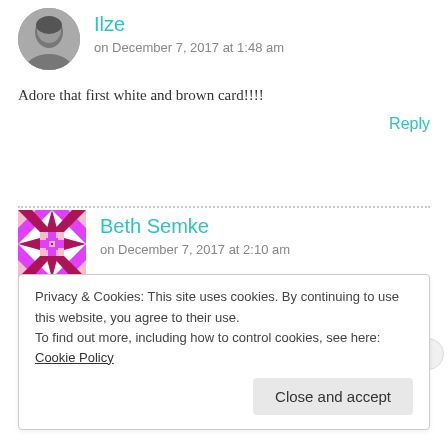Ilze
on December 7, 2017 at 1:48 am
Adore that first white and brown card!!!!
Reply
Beth Semke
on December 7, 2017 at 2:10 am
What did you use on the second water colored card to make the flecks of white? Thanks, Beth
Privacy & Cookies: This site uses cookies. By continuing to use this website, you agree to their use.
To find out more, including how to control cookies, see here: Cookie Policy
Close and accept